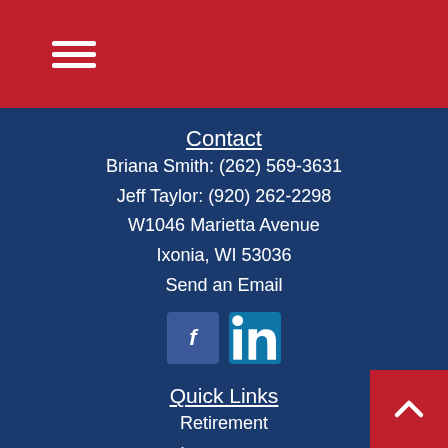☰ (hamburger menu icon)
Contact
Briana Smith: (262) 569-3631
Jeff Taylor: (920) 262-2298
W1046 Marietta Avenue
Ixonia, WI 53036
Send an Email
[Figure (infographic): Facebook and LinkedIn social media icon buttons]
Quick Links
Retirement
Investment
Estate
Insurance
Tax
Money
Lifestyle